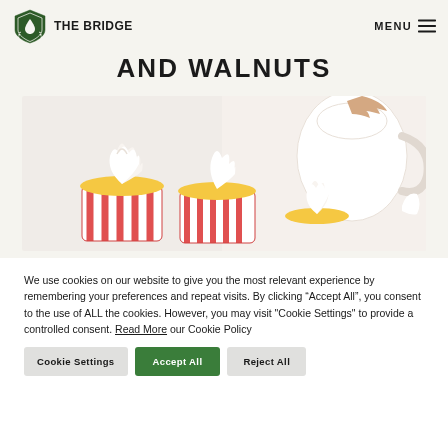THE BRIDGE | MENU
AND WALNUTS
[Figure (photo): Cupcakes with white whipped cream frosting in red and white striped paper cups, with a white ceramic pitcher in the background]
We use cookies on our website to give you the most relevant experience by remembering your preferences and repeat visits. By clicking “Accept All”, you consent to the use of ALL the cookies. However, you may visit "Cookie Settings" to provide a controlled consent. Read More our Cookie Policy
Cookie Settings
Accept All
Reject All